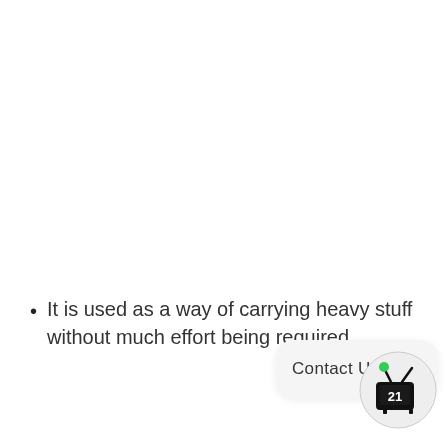It is used as a way of carrying heavy stuff without much effort being required.
[Figure (other): Contact Us button/widget — a rounded rectangle with text 'Contact Us' inside]
[Figure (logo): TV21 logo — circular icon with a retro TV showing number 21, with a green dot antenna]